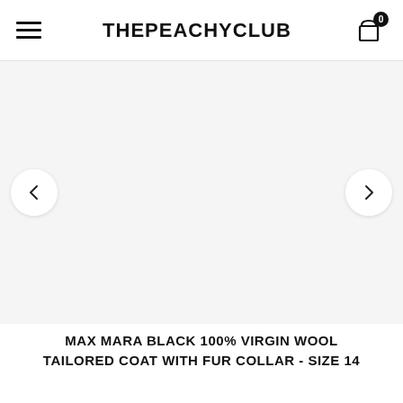THEPEACHYCLUB
[Figure (photo): Product image area with left and right navigation arrows on a light gray background. No product image is currently loaded.]
MAX MARA BLACK 100% VIRGIN WOOL TAILORED COAT WITH FUR COLLAR - SIZE 14